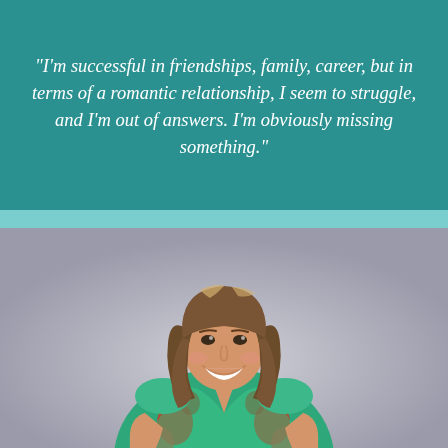"I'm successful in friendships, family, career, but in terms of a romantic relationship, I seem to struggle, and I'm out of answers. I'm obviously missing something."
[Figure (photo): A smiling woman with long wavy blonde-highlighted hair wearing a green and red patterned blazer/dress, photographed against a light grey background.]